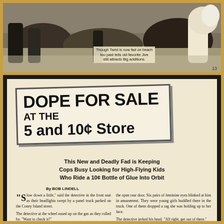[Figure (photo): Black and white photo of people on a beach, figures visible in the foreground and background on sand]
Though Twist is now fad on beach too past tells old favorite Jive still attracts Big additions.
DOPE FOR SALE AT THE 5 and 10¢ Store
This New and Deadly Fad is Keeping Cops Busy Looking for High-Flying Kids Who Ride a 10¢ Bottle of Glue Into Orbit
By BOB LINDELL
"Slow down a little," said the detective in the front seat as their headlights swept by a panel truck parked on the Coney Island street.
The detective at the wheel eased up on the gas as they rolled by. "Want to check it?"
"Might as well."
The detectives parked their car some dis-
the open rear door. Six pairs of feminine eyes blinked at him in amazement. They were young girls huddled there in the truck. One of them dropped a rag she was holding up to her face.
The detective jerked his head. "All right, get out of there."
The six girls woozily clambered out of the truck. Two of the younger ones suddenly made a break for it.